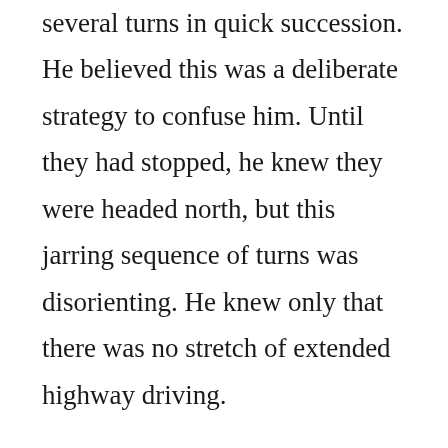several turns in quick succession. He believed this was a deliberate strategy to confuse him. Until they had stopped, he knew they were headed north, but this jarring sequence of turns was disorienting. He knew only that there was no stretch of extended highway driving.